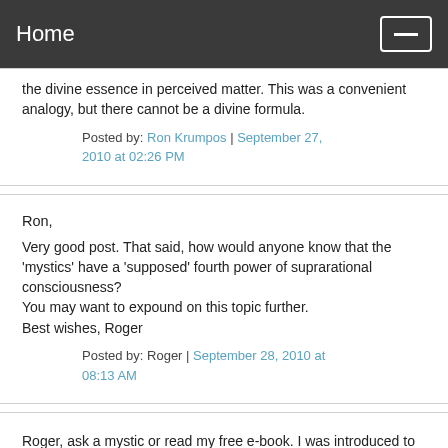Home
the divine essence in perceived matter. This was a convenient analogy, but there cannot be a divine formula.
Posted by: Ron Krumpos | September 27, 2010 at 02:26 PM
Ron,

Very good post. That said, how would anyone know that the 'mystics' have a 'supposed' fourth power of suprarational consciousness?
You may want to expound on this topic further.
Best wishes, Roger
Posted by: Roger | September 28, 2010 at 08:13 AM
Roger, ask a mystic or read my free e-book. I was introduced to mysticism by a Nobel physicist in 1959.